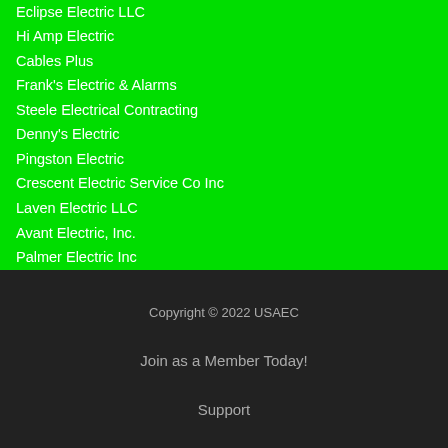Eclipse Electric LLC
Hi Amp Electric
Cables Plus
Frank's Electric & Alarms
Steele Electrical Contracting
Denny's Electric
Pingston Electric
Crescent Electric Service Co Inc
Laven Electric LLC
Avant Electric, Inc.
Palmer Electric Inc
Copyright © 2022 USAEC
Join as a Member Today!
Support